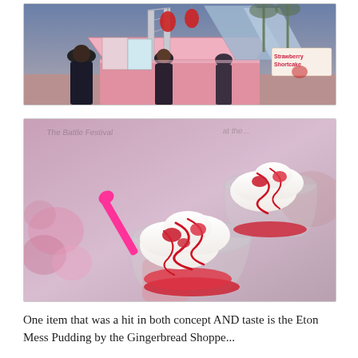[Figure (photo): Outdoor fair/carnival food stand at dusk with signage including 'Strawberry Shortcake', decorative lanterns, geometric structures, and people in front of the booth.]
[Figure (photo): Close-up of two cups of strawberry shortcake dessert with whipped cream, strawberry sauce drizzle, and a bright pink plastic spoon, held up against a blurred floral background.]
One item that was a hit in both concept AND taste is the Eton Mess Pudding by the Gingerbread Shoppe...